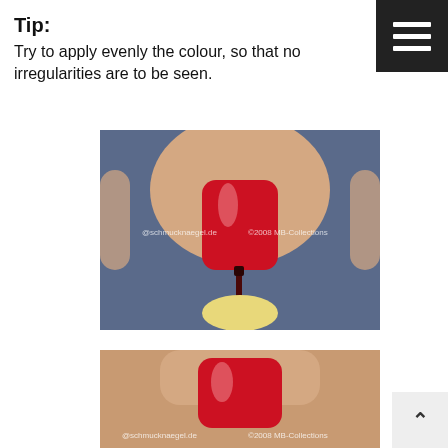Tip:
Try to apply evenly the colour, so that no irregularities are to be seen.
[Figure (photo): Close-up of a finger with red nail polish being applied by a brush, with watermark text '@schmucknaegel.de' and '©2008 MB-Collections']
[Figure (photo): Close-up of a finger with red nail polish applied, with watermark text '@schmucknaegel.de' and '©2008 MB-Collections']